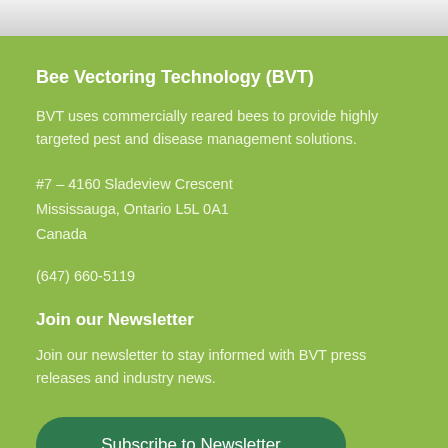Bee Vectoring Technology (BVT)
BVT uses commercially reared bees to provide highly targeted pest and disease management solutions.
#7 – 4160 Sladeview Crescent
Mississauga, Ontario L5L 0A1
Canada
(647) 660-5119
Join our Newsletter
Join our newsletter to stay informed with BVT press releases and industry news.
Subscribe to Newsletter